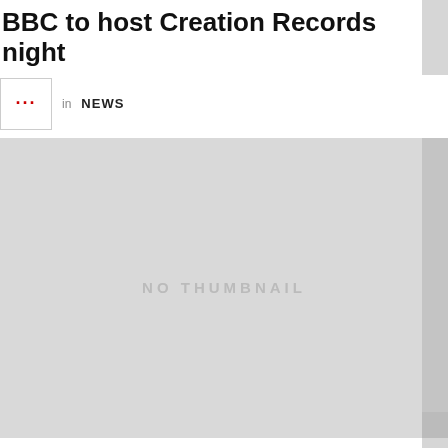BBC to host Creation Records night
in NEWS
[Figure (photo): No thumbnail placeholder image — large gray rectangle with 'NO THUMBNAIL' text centered]
Kevin Shields guests on Roky Erickson tribute album